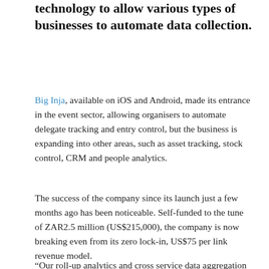technology to allow various types of businesses to automate data collection.
Big Inja, available on iOS and Android, made its entrance in the event sector, allowing organisers to automate delegate tracking and entry control, but the business is expanding into other areas, such as asset tracking, stock control, CRM and people analytics.
The success of the company since its launch just a few months ago has been noticeable. Self-funded to the tune of ZAR2.5 million (US$215,000), the company is now breaking even from its zero lock-in, US$75 per link revenue model.
“Our roll-up analytics and cross service data aggregation provide never before experienced business insights,” Ryan Meiring, founder and chief executive officer (CEO) of the startup, told Disrupt Africa.